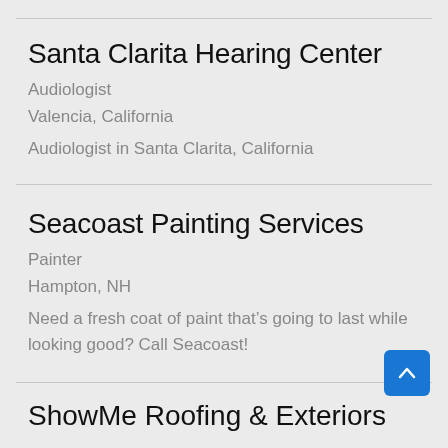Santa Clarita Hearing Center
Audiologist
Valencia, California
Audiologist in Santa Clarita, California
Seacoast Painting Services
Painter
Hampton, NH
Need a fresh coat of paint that’s going to last while looking good? Call Seacoast!
ShowMe Roofing & Exteriors